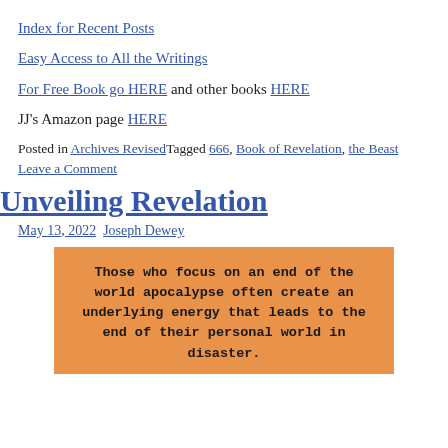Index for Recent Posts
Easy Access to All the Writings
For Free Book go HERE and other books HERE
JJ’s Amazon page HERE
Posted in Archives RevisedTagged 666, Book of Revelation, the Beast Leave a Comment
Unveiling Revelation
May 13, 2022 Joseph Dewey
[Figure (infographic): Orange background quote box with text: 'Those who focus on an end of the world apocalypse often create an underlying energy that leads to the end of their personal world in disaster.']